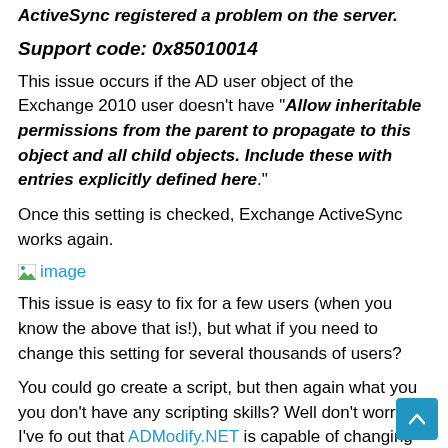ActiveSync registered a problem on the server.
Support code: 0x85010014
This issue occurs if the AD user object of the Exchange 2010 user doesn't have "Allow inheritable permissions from the parent to propagate to this object and all child objects. Include these with entries explicitly defined here."
Once this setting is checked, Exchange ActiveSync works again.
[Figure (other): Broken image placeholder icon with 'image' link text in blue]
This issue is easy to fix for a few users (when you know the above that is!), but what if you need to change this setting for several thousands of users?
You could go create a script, but then again what you you don't have any scripting skills? Well don't worry, I've fo out that ADModify.NET is capable of changing this setting on users in bulk.